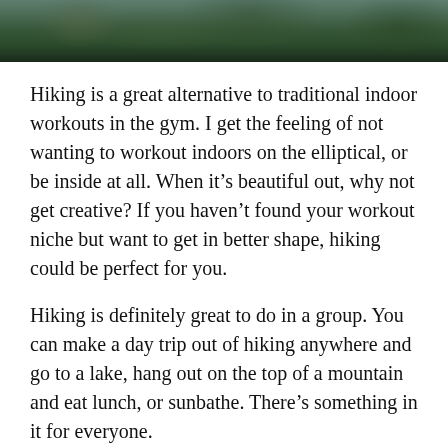[Figure (photo): Photo of trees and forest canopy viewed from below, dark green foliage against a grey sky, cropped to a horizontal strip at the top of the page.]
Hiking is a great alternative to traditional indoor workouts in the gym. I get the feeling of not wanting to workout indoors on the elliptical, or be inside at all. When it’s beautiful out, why not get creative? If you haven’t found your workout niche but want to get in better shape, hiking could be perfect for you.
Hiking is definitely great to do in a group. You can make a day trip out of hiking anywhere and go to a lake, hang out on the top of a mountain and eat lunch, or sunbathe. There’s something in it for everyone.